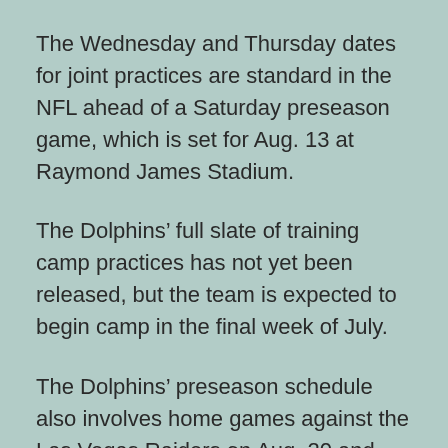The Wednesday and Thursday dates for joint practices are standard in the NFL ahead of a Saturday preseason game, which is set for Aug. 13 at Raymond James Stadium.
The Dolphins' full slate of training camp practices has not yet been released, but the team is expected to begin camp in the final week of July.
The Dolphins' preseason schedule also involves home games against the Las Vegas Raiders on Aug. 20 and Philadelphia Eagles on Aug. 27. New coach Mike McDaniel has